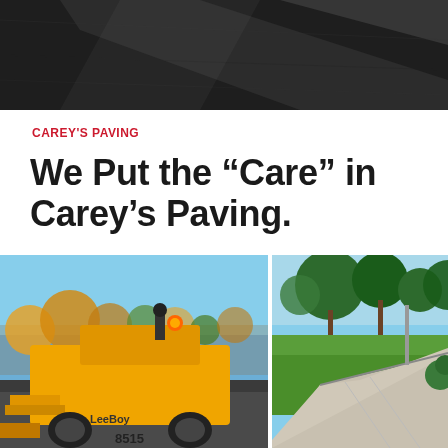[Figure (photo): Aerial or close-up view of dark asphalt surface being laid, dark grey/black tones with a light streak]
CAREY'S PAVING
We Put the “Care” in Carey’s Paving.
[Figure (photo): Two side-by-side photos: left shows a yellow LeeBoy 8515 paving machine on a road; right shows a freshly paved concrete sidewalk next to a green lawn with trees in the background]